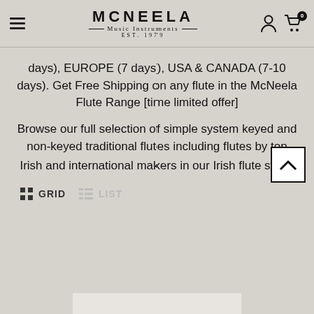MCNEELA Music Instruments EST. 1979
days), EUROPE (7 days), USA & CANADA (7-10 days). Get Free Shipping on any flute in the McNeela Flute Range [time limited offer]
Browse our full selection of simple system keyed and non-keyed traditional flutes including flutes by top Irish and international makers in our Irish flute store.
GRID   LIST